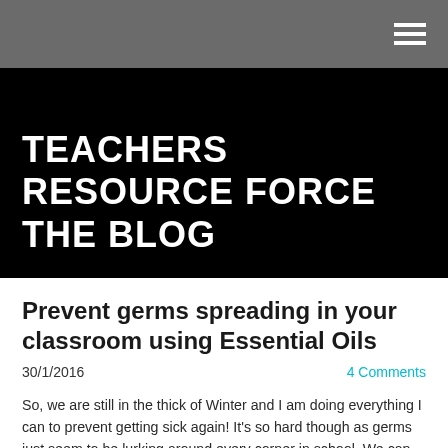TEACHERS RESOURCE FORCE THE BLOG
Prevent germs spreading in your classroom using Essential Oils
30/1/2016   4 Comments
So, we are still in the thick of Winter and I am doing everything I can to prevent getting sick again! It's so hard though as germs just seem to be lurking around every corner in school. We can disinfect our desks all day long but that still doesn't do enough to prevent germs from spreading in the air of our classrooms.